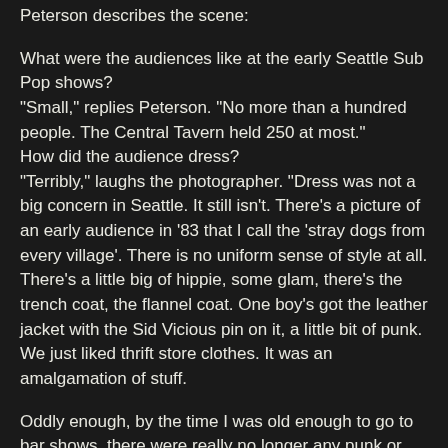Peterson describes the scene:
What were the audiences like at the early Seattle Sub Pop shows?
"Small," replies Peterson. "No more than a hundred people. The Central Tavern held 250 at most."
How did the audience dress?
"Terribly," laughs the photographer. "Dress was not a big concern in Seattle. It still isn't. There's a picture of an early audience in '83 that I call the 'stray dogs from every village'. There is no uniform sense of style at all. There's a little big of hippie, some glam, there's the trench coat, the flannel coat. One boy's got the leather jacket with the Sid Vicious pin on it, a little bit of punk. We just liked thrift store clothes. It was an amalgamation of stuff.
Oddly enough, by the time I was old enough to go to bar shows, there were really no longer any punk or grunge shows at the Central. It had switched over to being part of Pioneer Square's "Joint Cover Night" and featured mostly standard bar rock bands and roving groups of young frat boys and the bridge and tunnel crowd. Pretty much exactly